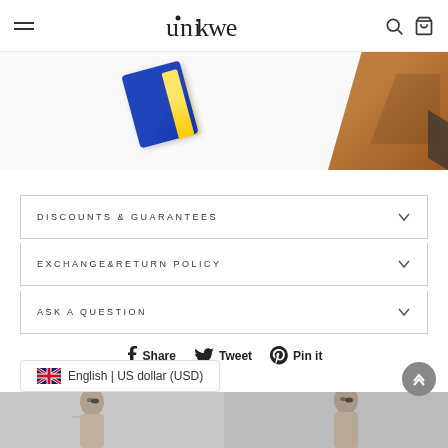unikwe — navigation header with hamburger menu, logo, search and cart icons
[Figure (photo): Partial product photo showing a blue card/wallet item and a wooden block/board on a white background]
DISCOUNTS & GUARANTEES
EXCHANGE&RETURN POLICY
ASK A QUESTION
Share  Tweet  Pin it
🇬🇧 English | US dollar (USD)
[Figure (photo): Two women with sunglasses, bottom portion visible]